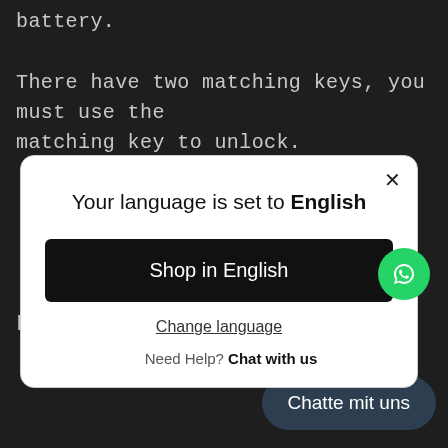battery.
There have two matching keys, you must use the matching key to unlock.
[Figure (screenshot): A modal dialog on a white background with rounded corners and a close X button. Title reads 'Your language is set to English'. Contains a black button 'Shop in English', a 'Change language' underlined link, and 'Need Help? Chat with us' text. A green WhatsApp chat bubble icon is visible at the bottom right of the modal.]
keep the bike dry if possible.
Chatte mit uns